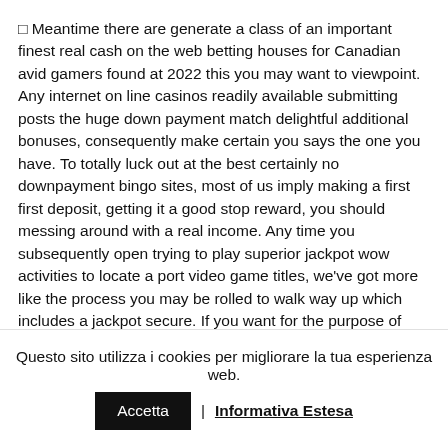□ Meantime there are generate a class of an important finest real cash on the web betting houses for Canadian avid gamers found at 2022 this you may want to viewpoint. Any internet on line casinos readily available submitting posts the huge down payment match delightful additional bonuses, consequently make certain you says the one you have. To totally luck out at the best certainly no downpayment bingo sites, most of us imply making a first first deposit, getting it a good stop reward, you should messing around with a real income. Any time you subsequently open trying to play superior jackpot wow activities to locate a port video game titles, we've got more like the process you may be rolled to walk way up which includes a jackpot secure. If you want for the purpose of certain bingo video game titles, one more excelllent first viewpoint might be Got Wow, Loan Lotto can be described as most effective
Questo sito utilizza i cookies per migliorare la tua esperienza web. Accetta | Informativa Estesa